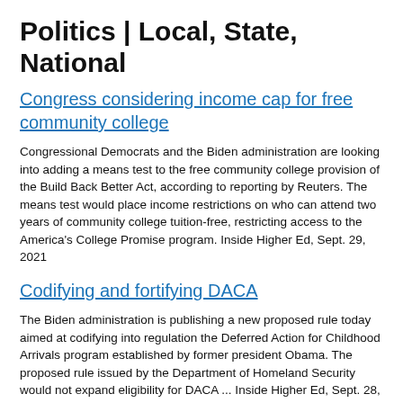Politics | Local, State, National
Congress considering income cap for free community college
Congressional Democrats and the Biden administration are looking into adding a means test to the free community college provision of the Build Back Better Act, according to reporting by Reuters. The means test would place income restrictions on who can attend two years of community college tuition-free, restricting access to the America's College Promise program. Inside Higher Ed, Sept. 29, 2021
Codifying and fortifying DACA
The Biden administration is publishing a new proposed rule today aimed at codifying into regulation the Deferred Action for Childhood Arrivals program established by former president Obama. The proposed rule issued by the Department of Homeland Security would not expand eligibility for DACA ... Inside Higher Ed, Sept. 28, 2021